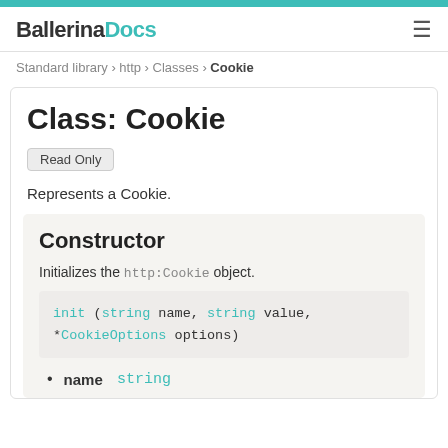Ballerina Docs
Standard library > http > Classes > Cookie
Class: Cookie
Read Only
Represents a Cookie.
Constructor
Initializes the http:Cookie object.
name string